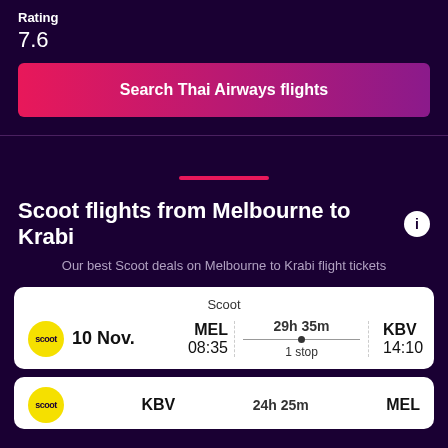Rating
7.6
Search Thai Airways flights
Scoot flights from Melbourne to Krabi
Our best Scoot deals on Melbourne to Krabi flight tickets
| Airline | Date | Origin | Duration | Stops | Destination | Arrival |
| --- | --- | --- | --- | --- | --- | --- |
| Scoot | 10 Nov. | MEL 08:35 | 29h 35m | 1 stop | KBV | 14:10 |
| Origin | Duration | Destination |
| --- | --- | --- |
| KBV | 24h 25m | MEL |